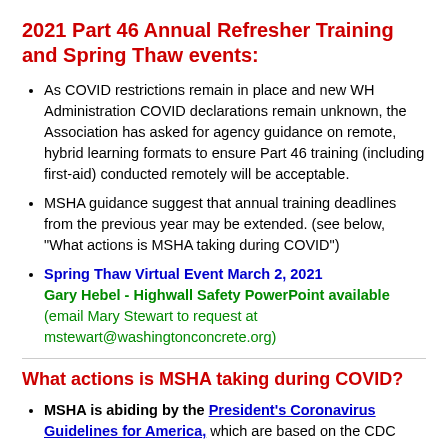2021 Part 46 Annual Refresher Training and Spring Thaw events:
As COVID restrictions remain in place and new WH Administration COVID declarations remain unknown, the Association has asked for agency guidance on remote, hybrid learning formats to ensure Part 46 training (including first-aid) conducted remotely will be acceptable.
MSHA guidance suggest that annual training deadlines from the previous year may be extended. (see below, "What actions is MSHA taking during COVID")
Spring Thaw Virtual Event March 2, 2021 Gary Hebel - Highwall Safety PowerPoint available (email Mary Stewart to request at mstewart@washingtonconcrete.org)
What actions is MSHA taking during COVID?
MSHA is abiding by the President's Coronavirus Guidelines for America, which are based on the CDC...